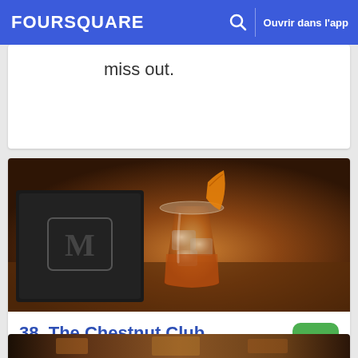FOURSQUARE  Ouvrir dans l'app
miss out.
[Figure (photo): Photo of a cocktail glass with ice and an orange peel garnish, next to a dark menu book with an embossed letter M, at a bar venue called The Chestnut Club]
38. The Chestnut Club
1348 14th St (Santa Monica Blvd.), Santa Monica, CA
Bar à cocktail · 20 conseils et avis
[Figure (photo): Partial view of another venue photo at the bottom of the page]